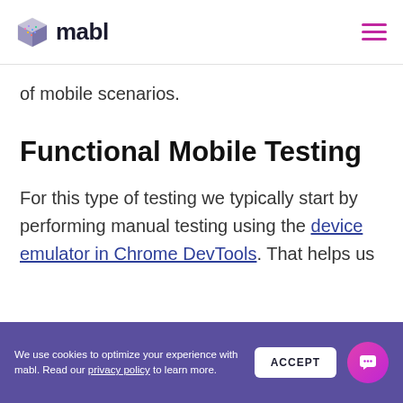mabl
of mobile scenarios.
Functional Mobile Testing
For this type of testing we typically start by performing manual testing using the device emulator in Chrome DevTools. That helps us
We use cookies to optimize your experience with mabl. Read our privacy policy to learn more.